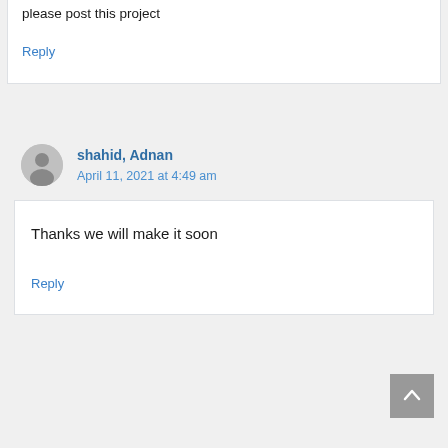please post this project
Reply
shahid, Adnan
April 11, 2021 at 4:49 am
Thanks we will make it soon
Reply